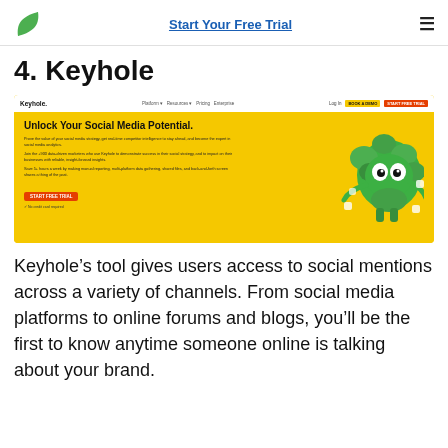Start Your Free Trial
4. Keyhole
[Figure (screenshot): Screenshot of Keyhole website homepage with yellow background, showing navigation bar and hero section with text 'Unlock Your Social Media Potential.' and a green plant-like mascot character]
Keyhole’s tool gives users access to social mentions across a variety of channels. From social media platforms to online forums and blogs, you’ll be the first to know anytime someone online is talking about your brand.